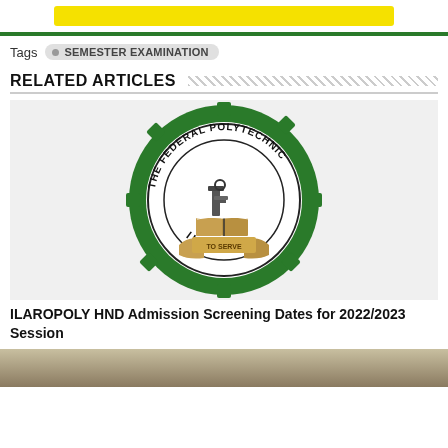[Figure (other): Yellow banner bar at top of page]
Tags  • SEMESTER EXAMINATION
RELATED ARTICLES
[Figure (logo): The Federal Polytechnic Ilaro circular logo with green gear border, engineering tools and book in center]
ILAROPOLY HND Admission Screening Dates for 2022/2023 Session
[Figure (photo): Bottom partial image strip of a building exterior]